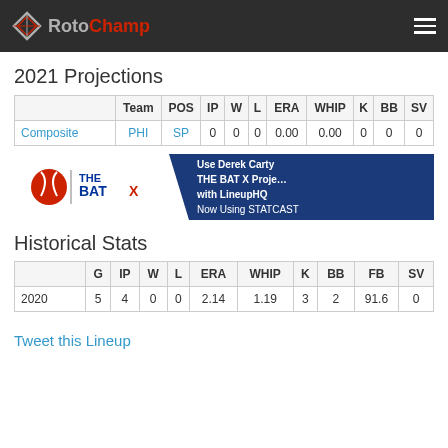RotoChamp
2021 Projections
|  | Team | POS | IP | W | L | ERA | WHIP | K | BB | SV |
| --- | --- | --- | --- | --- | --- | --- | --- | --- | --- | --- |
| Composite | PHI | SP | 0 | 0 | 0 | 0.00 | 0.00 | 0 | 0 | 0 |
[Figure (illustration): THE BAT X banner advertisement showing baseball logo, THE BAT X text in blue and red, and text 'Use Derek Carty THE BAT X Projections with LineupHQ Now Using STATCAST']
Historical Stats
|  | G | IP | W | L | ERA | WHIP | K | BB | FB | SV |
| --- | --- | --- | --- | --- | --- | --- | --- | --- | --- | --- |
| 2020 | 5 | 4 | 0 | 0 | 2.14 | 1.19 | 3 | 2 | 91.6 | 0 |
Tweet this Lineup